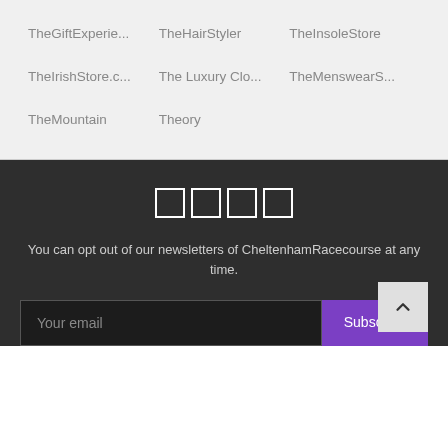TheGiftExperie...
TheHairStyler
TheInsoleStore
TheIrishStore.c...
The Luxury Clo...
TheMenswearS...
TheMountain
Theory
[Figure (other): Four social media icon boxes in a row (white outlined squares on dark background)]
You can opt out of our newsletters of CheltenhamRacecourse at any time.
Your email
Subscribe